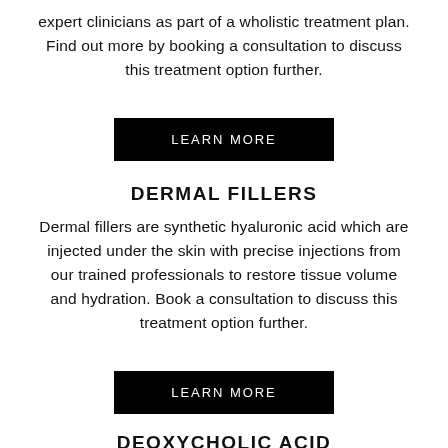expert clinicians as part of a wholistic treatment plan. Find out more by booking a consultation to discuss this treatment option further.
[Figure (other): Black rectangular button with white uppercase text reading LEARN MORE]
DERMAL FILLERS
Dermal fillers are synthetic hyaluronic acid which are injected under the skin with precise injections from our trained professionals to restore tissue volume and hydration. Book a consultation to discuss this treatment option further.
[Figure (other): Black rectangular button with white uppercase text reading LEARN MORE]
DEOXYCHOLIC ACID